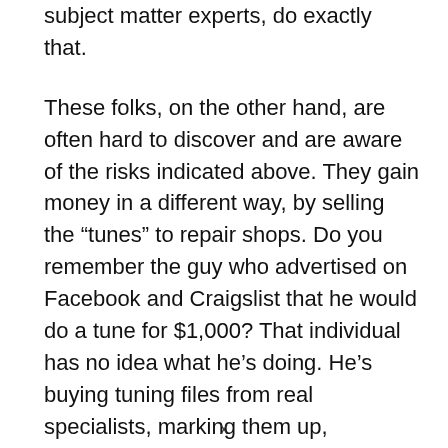subject matter experts, do exactly that.
These folks, on the other hand, are often hard to discover and are aware of the risks indicated above. They gain money in a different way, by selling the “tunes” to repair shops. Do you remember the guy who advertised on Facebook and Craigslist that he would do a tune for $1,000? That individual has no idea what he’s doing. He’s buying tuning files from real specialists, marking them up, uploading them to your ECM, and then walking away from you for good.
That’s all we know about eliminating and optimizing your engine. Our recommendation is to avoid it and
x